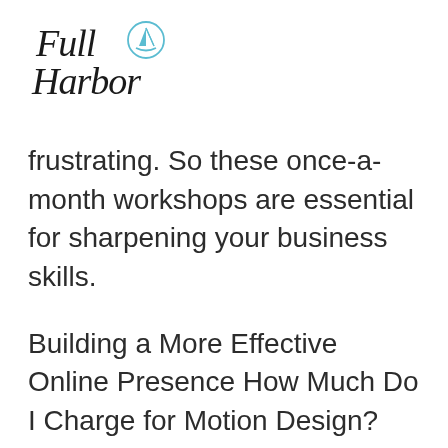[Figure (logo): Full Harbor logo with script text and sailboat icon in teal]
frustrating. So these once-a-month workshops are essential for sharpening your business skills.
Building a More Effective Online Presence How Much Do I Charge for Motion Design? Being Financially Secure as a Freelancer (see the full list in the Course Curriculum below)